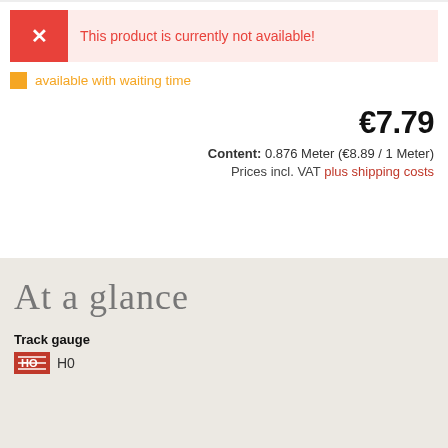This product is currently not available!
available with waiting time
€7.79
Content: 0.876 Meter (€8.89 / 1 Meter)
Prices incl. VAT plus shipping costs
At a glance
Track gauge
H0